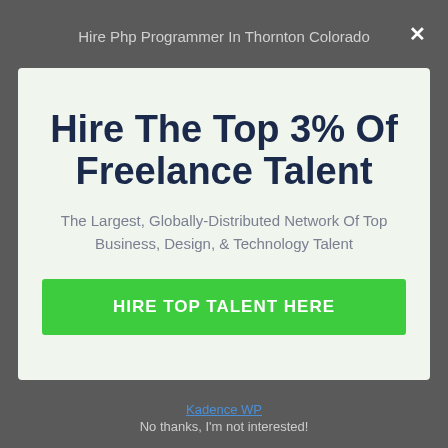Hire Php Programmer In Thornton Colorado
Hire The Top 3% Of Freelance Talent
The Largest, Globally-Distributed Network Of Top Business, Design, & Technology Talent
HIRE TOP TALENT HERE
Kadence WP
No thanks, I'm not interested!